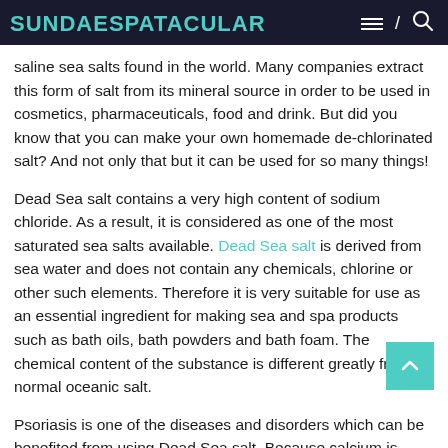SUNDAESPATACULAR
saline sea salts found in the world. Many companies extract this form of salt from its mineral source in order to be used in cosmetics, pharmaceuticals, food and drink. But did you know that you can make your own homemade de-chlorinated salt? And not only that but it can be used for so many things!
Dead Sea salt contains a very high content of sodium chloride. As a result, it is considered as one of the most saturated sea salts available. Dead Sea salt is derived from sea water and does not contain any chemicals, chlorine or other such elements. Therefore it is very suitable for use as an essential ingredient for making sea and spa products such as bath oils, bath powders and bath foam. The chemical content of the substance is different greatly from normal oceanic salt.
Psoriasis is one of the diseases and disorders which can be benefited from using Dead Sea salt. Because calcium is known to improve the condition of the skin, many people suffering from this